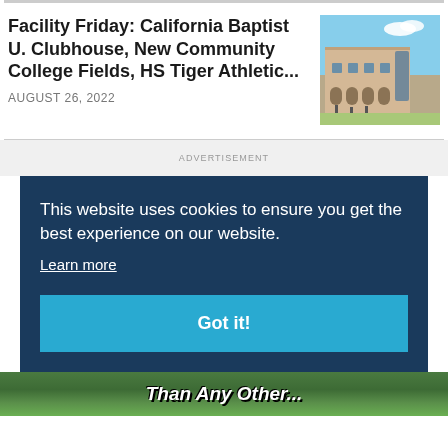Facility Friday: California Baptist U. Clubhouse, New Community College Fields, HS Tiger Athletic...
AUGUST 26, 2022
[Figure (photo): Exterior photo of a building, likely California Baptist University athletic facility, with tan/beige architecture and blue sky]
ADVERTISEMENT
This website uses cookies to ensure you get the best experience on our website.
Learn more
Got it!
[Figure (photo): Bottom banner advertisement with green grass field background and text 'Than Any Other...']